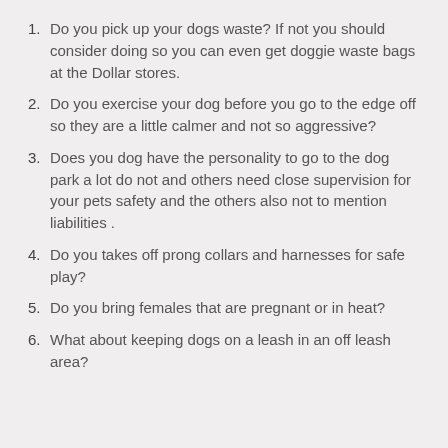1. Do you pick up your dogs waste? If not you should consider doing so you can even get doggie waste bags at the Dollar stores.
2. Do you exercise your dog before you go to the edge off so they are a little calmer and not so aggressive?
3. Does you dog have the personality to go to the dog park a lot do not and others need close supervision for your pets safety and the others also not to mention liabilities .
4. Do you takes off prong collars and harnesses for safe play?
5. Do you bring females that are pregnant or in heat?
6. What about keeping dogs on a leash in an off leash area?